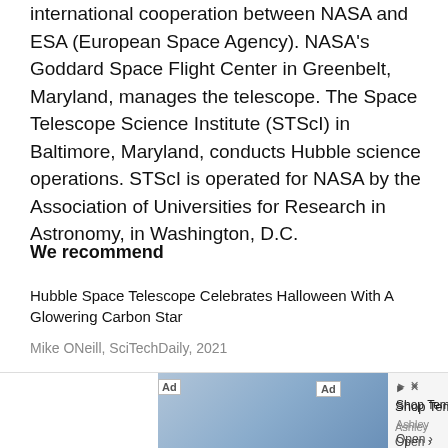international cooperation between NASA and ESA (European Space Agency). NASA's Goddard Space Flight Center in Greenbelt, Maryland, manages the telescope. The Space Telescope Science Institute (STScI) in Baltimore, Maryland, conducts Hubble science operations. STScI is operated for NASA by the Association of Universities for Research in Astronomy, in Washington, D.C.
We recommend
Hubble Space Telescope Celebrates Halloween With A Glowering Carbon Star
Mike ONeill, SciTechDaily, 2021
Hubble Captures Colorful Celestial Cloudscape in the Orion Nebula
SciTechDaily, 2022
[Figure (other): Advertisement banner for Shop Tempur-Pedic Mattresses by Ashley with an image of a mattress/bed]